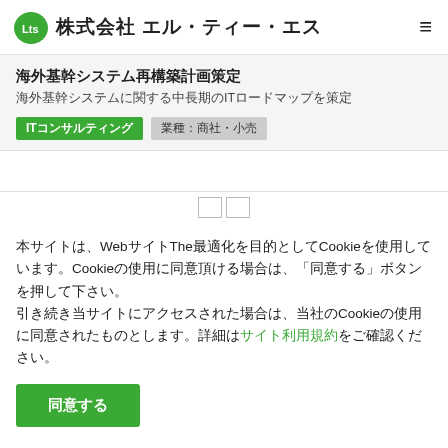株式会社 エル・ティー・エス
海外基幹システム再構築計画策定
海外基幹システムに関する中長期のITロードマップを策定
ITコンサルティング　業種：商社・小売
本サイトは、Webサイトの最適化を目的としてCookieを使用しています。Cookieの使用に同意頂ける場合は、「同意する」ボタンを押して下さい。
引き続き当サイトにアクセスされた場合は、当社のCookieの使用に同意されたものとします。詳細はサイト利用規約をご確認ください。
同意する